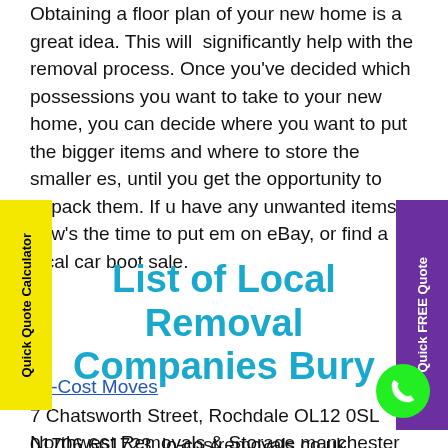Obtaining a floor plan of your new home is a great idea. This will significantly help with the removal process. Once you've decided which possessions you want to take to your new home, you can decide where you want to put the bigger items and where to store the smaller ones, until you get the opportunity to unpack them. If you have any unwanted items, now's the time to put them on eBay, or find a local car boot sale.
List of Local Removal Companies Bury
Lo-Cost Moves
7 Chatsworth Street, Rochdale OL12 0SL
01706 661723  lo-costremovals.co.uk
Northwest Removals & Storage manchester
Garden St, Ramsbottom, Bury BL0 9BG